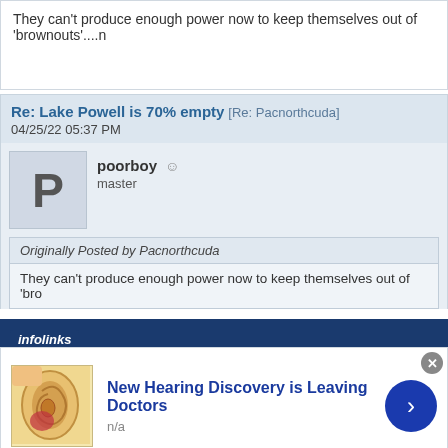They can't produce enough power now to keep themselves out of 'brownouts'....
Re: Lake Powell is 70% empty [Re: Pacnorthcuda] 04/25/22 05:37 PM
poorboy ☺ master
Originally Posted by Pacnorthcuda
They can't produce enough power now to keep themselves out of 'bro
[Figure (screenshot): Infolinks advertisement banner with ear diagram image and text 'New Hearing Discovery is Leaving Doctors']